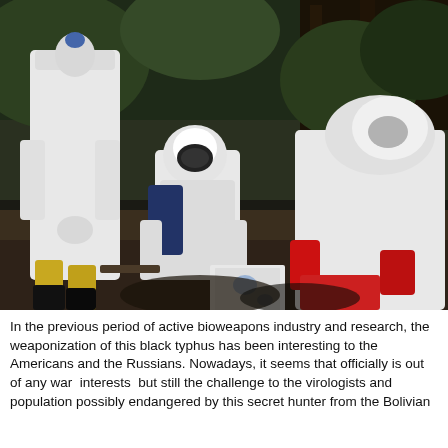[Figure (photo): Three people in white hazmat/protective suits with red gloves working over something on the ground in an outdoor wooded/forest setting. One person stands while two others crouch down examining or handling something near the ground. Yellow boots visible on the standing figure.]
In the previous period of active bioweapons industry and research, the weaponization of this black typhus has been interesting to the Americans and the Russians. Nowadays, it seems that officially is out of any war interests but still the challenge to the virologists and population possibly endangered by this secret hunter from the Bolivian